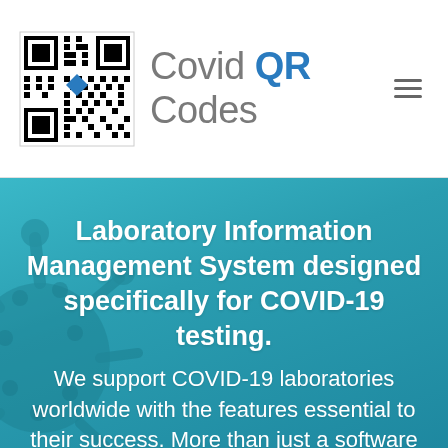[Figure (logo): Covid QR Codes logo with QR code image on left and text 'Covid QR Codes' on right, with hamburger menu icon on far right]
Laboratory Information Management System designed specifically for COVID-19 testing.
We support COVID-19 laboratories worldwide with the features essential to their success. More than just a software company, we support your patients and